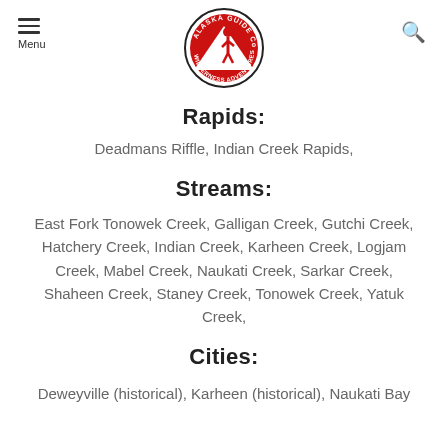Alaska Guide Co Wilderness Adventures logo, Menu, Search
Rapids:
Deadmans Riffle, Indian Creek Rapids,
Streams:
East Fork Tonowek Creek, Galligan Creek, Gutchi Creek, Hatchery Creek, Indian Creek, Karheen Creek, Logjam Creek, Mabel Creek, Naukati Creek, Sarkar Creek, Shaheen Creek, Staney Creek, Tonowek Creek, Yatuk Creek,
Cities:
Deweyville (historical), Karheen (historical), Naukati Bay